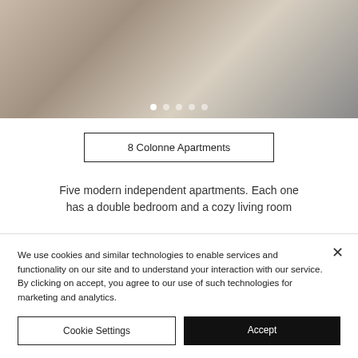[Figure (photo): Interior apartment photo showing cozy bedroom/living area with cushions, blanket, and plant. Slideshow with 5 navigation dots visible.]
8 Colonne Apartments
Five modern independent apartments. Each one has a double bedroom and a cozy living room
We use cookies and similar technologies to enable services and functionality on our site and to understand your interaction with our service. By clicking on accept, you agree to our use of such technologies for marketing and analytics.
Cookie Settings
Accept